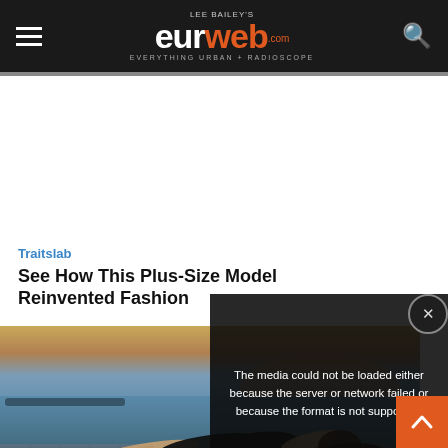LEE BAILEY'S eurweb.com — EVERYTHING URBAN + RADIOSCOPE
[Figure (screenshot): Video player error overlay showing: 'The media could not be loaded either because the server or network failed or because the format is not supported.']
Traitslab
See How This Plus-Size Model Reinvented Fashion
[Figure (photo): A woman in a black swimsuit lying on the edge of a tiled pool with ocean and sunset sky in background.]